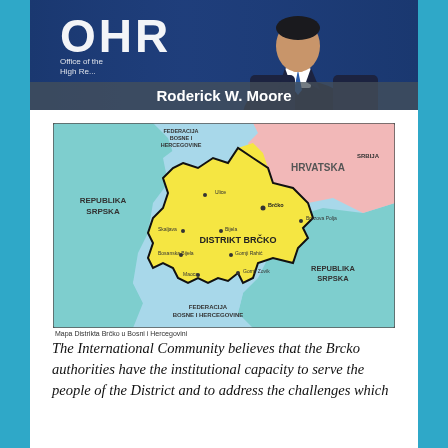[Figure (photo): Photo of Roderick W. Moore in front of OHR (Office of the High Representative) backdrop, wearing a suit and blue tie. Name overlay text reads 'Roderick W. Moore'.]
[Figure (map): Map of Distrikt Brčko (Brčko District) in Bosnia and Herzegovina, showing surrounding regions: Republika Srpska (left and right), Hrvatska (upper right), Federacija Bosne i Hercegovine (upper left and lower), and Serbia (upper right corner). Cities labeled: Ulice, Brčko, Brezova Polja, Skaljava, Bijela, Bosanska Bijela, Gornji Rahić, Maoca, Gornji Zovik. Caption reads: Mapa Distrikta Brčko u Bosni i Hercegovini]
Mapa Distrikta Brčko u Bosni i Hercegovini
The International Community believes that the Brcko authorities have the institutional capacity to serve the people of the District and to address the challenges which